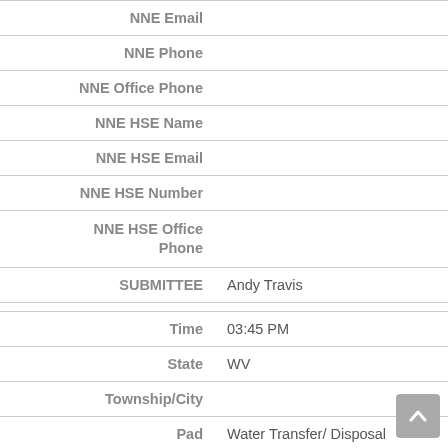| Field | Value |
| --- | --- |
| NNE Email |  |
| NNE Phone |  |
| NNE Office Phone |  |
| NNE HSE Name |  |
| NNE HSE Email |  |
| NNE HSE Number |  |
| NNE HSE Office Phone |  |
| SUBMITTEE | Andy Travis |
|  |  |
| Time | 03:45 PM |
| State | WV |
| Township/City |  |
| Pad | Water Transfer/ Disposal |
| Latitude |  |
| Longitude |  |